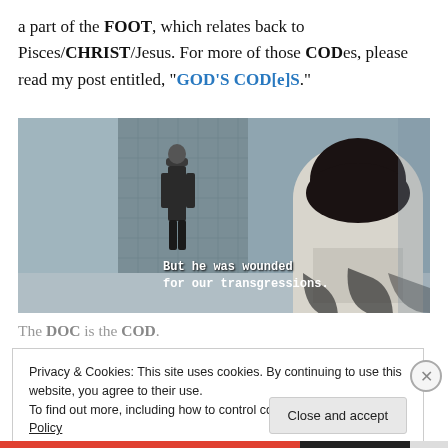a part of the FOOT, which relates back to Pisces/CHRIST/Jesus. For more of those CODes, please read my post entitled, "GOD'S COD[e]S."
[Figure (screenshot): Video screenshot showing a person seen from behind wearing a white top with dark lettering, facing another person standing in a room. White subtitle text reads: 'But he was wounded for our transgressions.']
The DOC is the COD.
Privacy & Cookies: This site uses cookies. By continuing to use this website, you agree to their use.
To find out more, including how to control cookies, see here: Cookie Policy